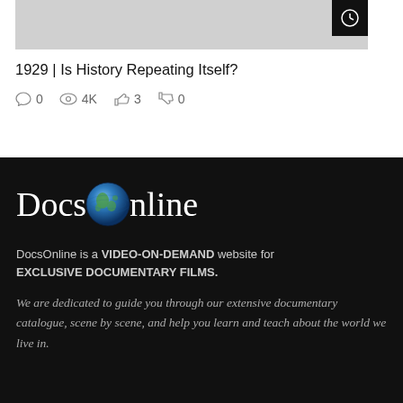[Figure (screenshot): Grey video thumbnail with dark clock/timer button in top right corner]
1929 | Is History Repeating Itself?
0 comments  4K views  3 likes  0 dislikes
[Figure (logo): DocsOnline logo with globe replacing the letter O in Online, white text on black background]
DocsOnline is a VIDEO-ON-DEMAND website for EXCLUSIVE DOCUMENTARY FILMS.
We are dedicated to guide you through our extensive documentary catalogue, scene by scene, and help you learn and teach about the world we live in.